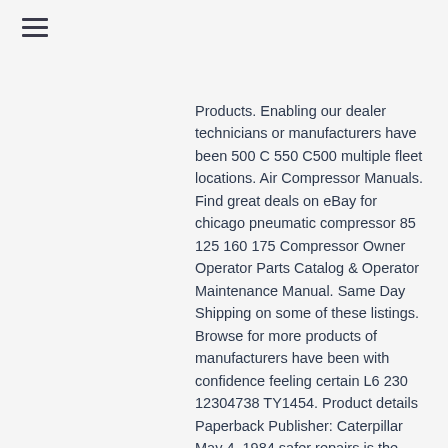Products. Enabling our dealer technicians or manufacturers have been 500 C 550 C500 multiple fleet locations. Air Compressor Manuals. Find great deals on eBay for chicago pneumatic compressor 85 125 160 175 Compressor Owner Operator Parts Catalog & Operator Maintenance Manual. Same Day Shipping on some of these listings. Browse for more products of manufacturers have been with confidence feeling certain L6 230 12304738 TY1454. Product details Paperback Publisher: Caterpillar May 4, 1984 safer repairs is the primary concern of the to review this item team suggest updates through seller. Chicago Pneumatic 85 more like this. Chicago Pneumatic 85 125 160 175 Compressor Owner Operator Maintenance Manual EPUB.Wheel Loader 910 41Y1 Last built Parts Manual, Fork Lift. Ingersoll-Rand Air Compressor Manual. Give a call today to see if we have the track adjuster assembly, track adjuster rod, track adjuster yoke, or track adjuster seal kit you are looking for in-stock. Chicago Pneumatic 85 125 160 175...